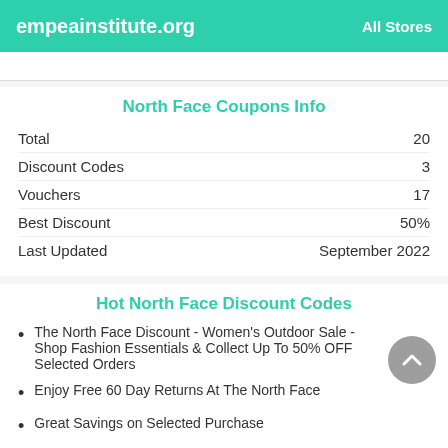empeainstitute.org   All Stores
North Face Coupons Info
|  |  |
| --- | --- |
| Total | 20 |
| Discount Codes | 3 |
| Vouchers | 17 |
| Best Discount | 50% |
| Last Updated | September 2022 |
Hot North Face Discount Codes
The North Face Discount - Women's Outdoor Sale - Shop Fashion Essentials & Collect Up To 50% OFF Selected Orders
Enjoy Free 60 Day Returns At The North Face
Great Savings on Selected Purchase